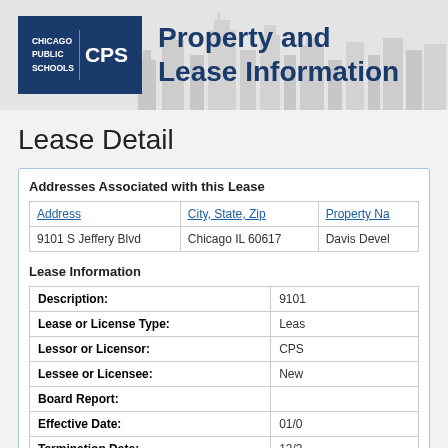Chicago Public Schools CPS — Property and Lease Information
Lease Detail
Addresses Associated with this Lease
| Address | City, State, Zip | Property Na... |
| --- | --- | --- |
| 9101 S Jeffery Blvd | Chicago IL 60617 | Davis Devel... |
Lease Information
| Description: | 9101... |
| Lease or License Type: | Leas... |
| Lessor or Licensor: | CPS... |
| Lessee or Licensee: | New... |
| Board Report: |  |
| Effective Date: | 01/0... |
| Termination Date: | 12/3... |